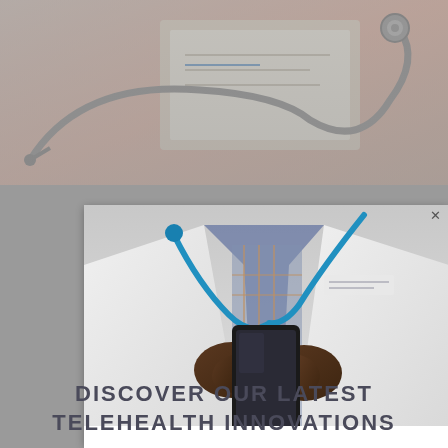[Figure (photo): Close-up photo of a stethoscope on a desk with papers and a clipboard, pinkish-beige background, grey tones.]
[Figure (photo): Doctor in white lab coat with blue stethoscope around neck, holding a smartphone with both hands, chest/torso view only.]
DISCOVER OUR LATEST TELEHEALTH INNOVATIONS